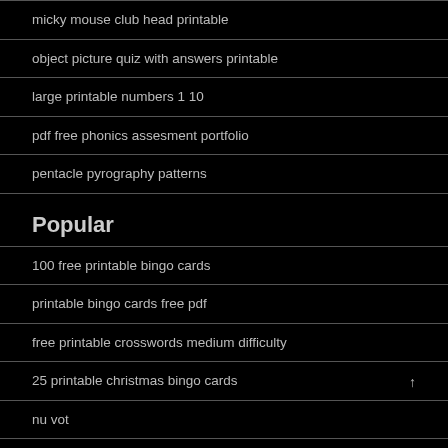micky mouse club head printable
object picture quiz with answers printable
large printable numbers 1 10
pdf free phonics assesment portfolio
pentacle pyrography patterns
Popular
100 free printable bingo cards
printable bingo cards free pdf
free printable crosswords medium difficulty
25 printable christmas bingo cards
nu vot